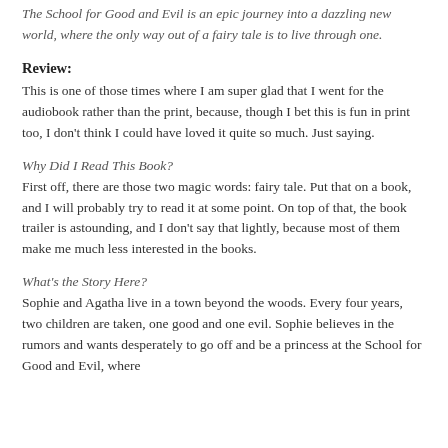The School for Good and Evil is an epic journey into a dazzling new world, where the only way out of a fairy tale is to live through one.
Review:
This is one of those times where I am super glad that I went for the audiobook rather than the print, because, though I bet this is fun in print too, I don't think I could have loved it quite so much. Just saying.
Why Did I Read This Book?
First off, there are those two magic words: fairy tale. Put that on a book, and I will probably try to read it at some point. On top of that, the book trailer is astounding, and I don't say that lightly, because most of them make me much less interested in the books.
What's the Story Here?
Sophie and Agatha live in a town beyond the woods. Every four years, two children are taken, one good and one evil. Sophie believes in the rumors and wants desperately to go off and be a princess at the School for Good and Evil, where